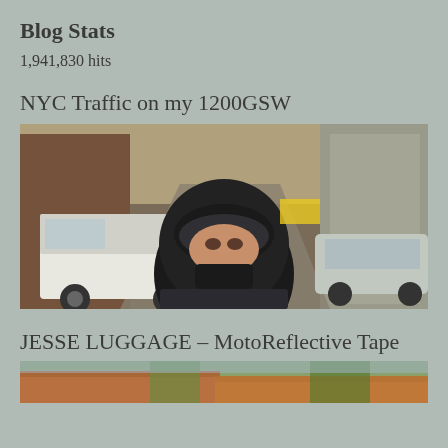Blog Stats
1,941,830 hits
NYC Traffic on my 1200GSW
[Figure (photo): Selfie of a person in a black motorcycle helmet in NYC traffic, surrounded by vehicles including a white van, cars, and city buildings visible in the background.]
JESSE LUGGAGE – MotoReflective Tape
[Figure (photo): Partial photo showing houses with tiled roofs and trees, cropped at the bottom of the page.]